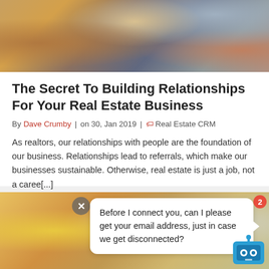[Figure (photo): People at a social gathering clinking glasses and sharing food]
The Secret To Building Relationships For Your Real Estate Business
By Dave Crumby | on 30, Jan 2019 | Real Estate CRM
As realtors, our relationships with people are the foundation of our business. Relationships lead to referrals, which make our businesses sustainable. Otherwise, real estate is just a job, not a caree[...]
[Figure (photo): Blurred background social/business setting with chat bot overlay asking for email address]